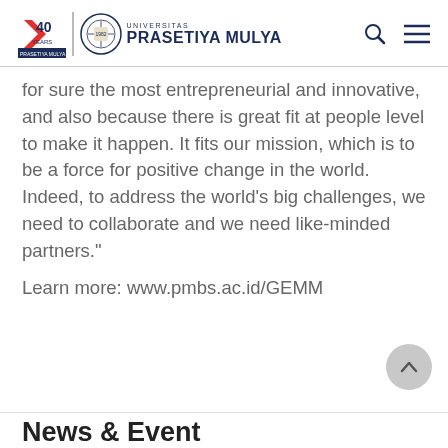UNIVERSITAS PRASETIYA MULYA
for sure the most entrepreneurial and innovative, and also because there is great fit at people level to make it happen. It fits our mission, which is to be a force for positive change in the world. Indeed, to address the world’s big challenges, we need to collaborate and we need like-minded partners.”
Learn more: www.pmbs.ac.id/GEMM
News & Event